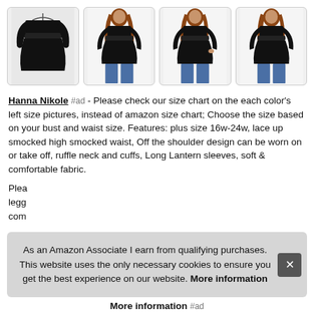[Figure (photo): Four product photos of a black plus-size off-shoulder ruffled top with long lantern sleeves: first shows the garment flat/on hanger, second and third show a model wearing it from the front, fourth shows the model from the back.]
Hanna Nikole #ad - Please check our size chart on the each color's left size pictures, instead of amazon size chart; Choose the size based on your bust and waist size. Features: plus size 16w-24w, lace up smocked high smocked waist, Off the shoulder design can be worn on or take off, ruffle neck and cuffs, Long Lantern sleeves, soft & comfortable fabric.
Please... leggings... comfortable...
As an Amazon Associate I earn from qualifying purchases. This website uses the only necessary cookies to ensure you get the best experience on our website. More information
More information #ad